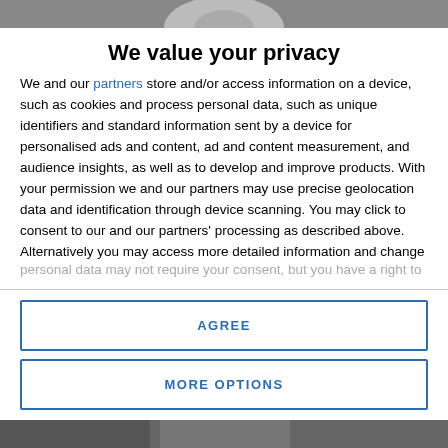[Figure (photo): Top portion of a photograph, partially visible at the top of the page (person/people)]
We value your privacy
We and our partners store and/or access information on a device, such as cookies and process personal data, such as unique identifiers and standard information sent by a device for personalised ads and content, ad and content measurement, and audience insights, as well as to develop and improve products. With your permission we and our partners may use precise geolocation data and identification through device scanning. You may click to consent to our and our partners' processing as described above. Alternatively you may access more detailed information and change your preferences before consenting or to refuse consenting. Please note that some processing of your personal data may not require your consent, but you have a right to
AGREE
MORE OPTIONS
[Figure (photo): Bottom portion of a photograph, partially visible at the bottom of the page]